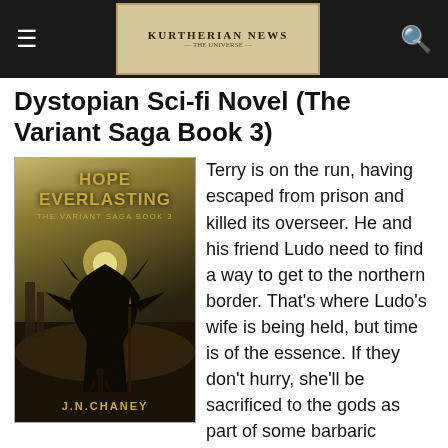KURTHERIAN NEWS
Dystopian Sci-fi Novel (The Variant Saga Book 3)
[Figure (illustration): Book cover for Hope Everlasting: The Variant Saga Book 3 by J.N. Chaney. Shows a large dark monster creature with horns and wings standing over a small human figure, with glowing light behind the creature's head, dystopian city in background.]
Terry is on the run, having escaped from prison and killed its overseer. He and his friend Ludo need to find a way to get to the northern border. That's where Ludo's wife is being held, but time is of the essence. If they don't hurry, she'll be sacrificed to the gods as part of some barbaric ceremony.